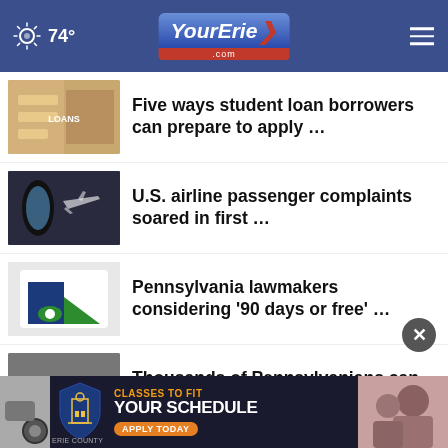74° YourErie.com
Five ways student loan borrowers can prepare to apply …
U.S. airline passenger complaints soared in first …
Pennsylvania lawmakers considering '90 days or free' …
Thousands of Pennsylvanians can be pardoned from …
Wild Stuff: International Primate Day!
[Figure (screenshot): Erie County Community College ad banner: CLASSES TO FIT YOUR SCHEDULE APPLY TODAY]